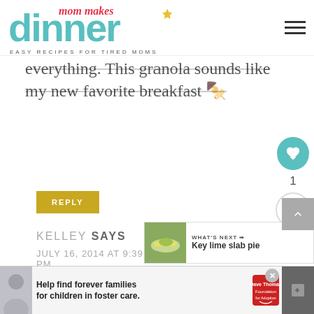[Figure (logo): Mom Makes Dinner logo - teal 'dinner' text with red cursive 'mom makes' above, tagline 'EASY RECIPES FOR TIRED MOMS']
everything. This granola sounds like my new favorite breakfast 🥣
REPLY
KELLEY SAYS
JULY 16, 2014 AT 9:39 PM
[Figure (infographic): Side widget with heart button (teal circle), count of 1, and share button]
[Figure (infographic): What's Next banner with key lime slab pie image and text]
[Figure (infographic): Advertisement: Help find forever families for children in foster care. Dave Thomas Foundation for Adoption.]